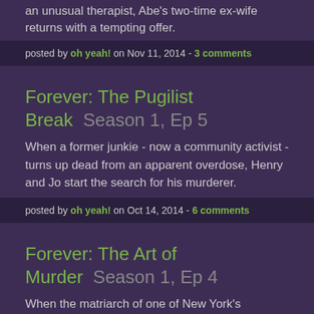an unusual therapist, Abe's two-time ex-wife returns with a tempting offer.
posted by oh yeah! on Nov 11, 2014 - 3 comments
Forever: The Pugilist Break Season 1, Ep 5
When a former junkie - now a community activist - turns up dead from an apparent overdose, Henry and Jo start the search for his murderer.
posted by oh yeah! on Oct 14, 2014 - 6 comments
Forever: The Art of Murder Season 1, Ep 4
When the matriarch of one of New York's wealthiest families dies, the family demands answers; memories brought on by the case torment Henry.
posted by oh yeah! on Oct 7, 2014 - 5 comments